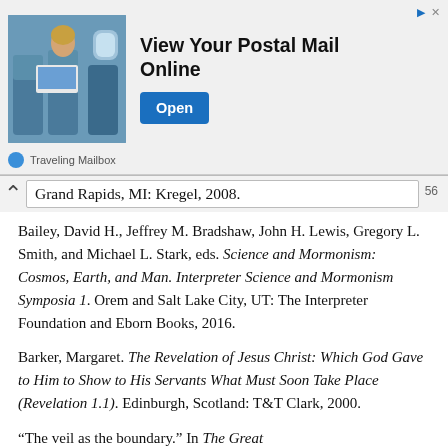[Figure (other): Advertisement banner: View Your Postal Mail Online — Traveling Mailbox, with Open button and photo of person on laptop in airplane]
Grand Rapids, MI: Kregel, 2008.
Bailey, David H., Jeffrey M. Bradshaw, John H. Lewis, Gregory L. Smith, and Michael L. Stark, eds. Science and Mormonism: Cosmos, Earth, and Man. Interpreter Science and Mormonism Symposia 1. Orem and Salt Lake City, UT: The Interpreter Foundation and Eborn Books, 2016.
Barker, Margaret. The Revelation of Jesus Christ: Which God Gave to Him to Show to His Servants What Must Soon Take Place (Revelation 1.1). Edinburgh, Scotland: T&T Clark, 2000.
“The veil as the boundary.” In The Great